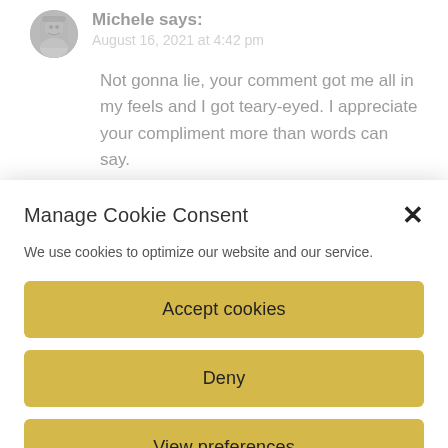Michele says:
August 16, 2021 at 4:42 pm
Not gonna lie, your comment got me all in my feels and I got teary-eyed. I appreciate your compliment more than words can say.
Reply
Manage Cookie Consent
We use cookies to optimize our website and our service.
Accept cookies
Deny
View preferences